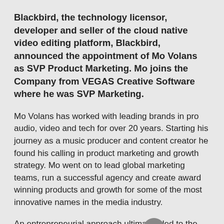Blackbird, the technology licensor, developer and seller of the cloud native video editing platform, Blackbird, announced the appointment of Mo Volans as SVP Product Marketing. Mo joins the Company from VEGAS Creative Software where he was SVP Marketing.
Mo Volans has worked with leading brands in pro audio, video and tech for over 20 years. Starting his journey as a music producer and content creator he found his calling in product marketing and growth strategy. Mo went on to lead global marketing teams, run a successful agency and create award winning products and growth for some of the most innovative names in the media industry.
An entrepreneurial approach ultimately led to the creation and exit of his own hardware startup. This experience gave Mo a deep understanding of consumer psychology and the skills needed to produce optimal user experience. Mo has held senior positions with Brainworx / Plugin Alliance and been a strategy advisor at Abbey Road Studios. Most recently, as SVP Marketing at MAGIX / Vegas Creative Software, he shaped strategy for their entire pro audio and